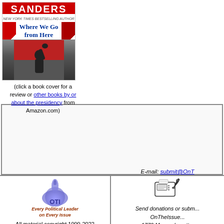[Figure (illustration): Book cover for Bernie Sanders 'Where We Go from Here' with person raising fist]
(click a book cover for a review or other books by or about the presidency from Amazon.com)
[Figure (illustration): Advertisement banner area (blank/white)]
[Figure (logo): OTI - OnTheIssues.org logo with capitol dome silhouette and text 'Every Political Leader on Every Issue']
All material copyright 1999-2022 by Jesse Gordon and OnTheIssues.org Reprinting by permission only.
E-mail: submit@OnT...
[Figure (illustration): Fax machine icon]
Send donations or subm... OnTheIssue... 1770 Massachusett... Cambridge, MA...